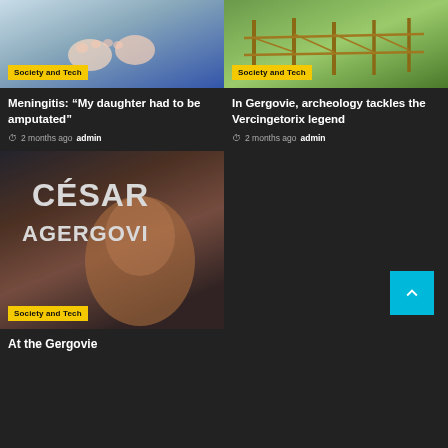[Figure (photo): Photo of a baby/infant's feet, medical setting, blue tones]
Society and Tech
[Figure (photo): Outdoor field scene with wooden fence posts and green grass]
Society and Tech
Meningitis: “My daughter had to be amputated”
2 months ago  admin
In Gergovie, archeology tackles the Vercingetorix legend
2 months ago  admin
[Figure (photo): Book or poster cover showing CÉSAR / À GERGOVI with illustrated face]
Society and Tech
At the Gergovie